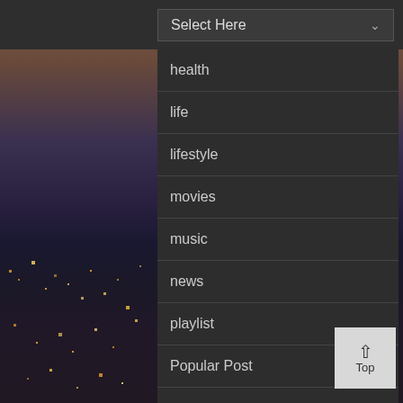[Figure (screenshot): Dropdown menu open showing category list items on a dark background with city skyline photo behind]
Select Here
health
life
lifestyle
movies
music
news
playlist
Popular Post
sports
Trending
Trending News
Trending video
vid